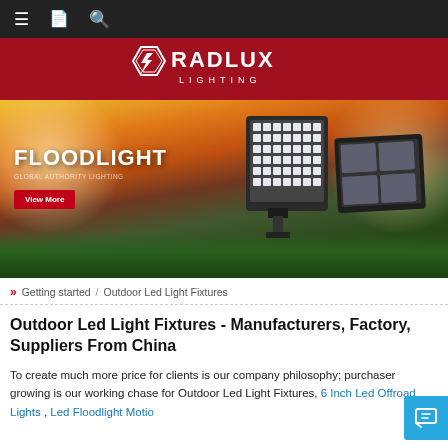Navigation bar with menu, bookmark, and search icons
[Figure (logo): Radlux Lighting logo — red diamond hexagon emblem with lightning bolt, white text RADLUX LIGHTING on dark red background]
[Figure (photo): Hero banner showing two LED floodlights against a lit stadium background. Text reads FLOODLIGHT with a View More red button.]
» Getting started / Outdoor Led Light Fixtures
Outdoor Led Light Fixtures - Manufacturers, Factory, Suppliers From China
To create much more price for clients is our company philosophy; purchaser growing is our working chase for Outdoor Led Light Fixtures, 6 Inch Led Offroad Lights , Led Floodlight Motion